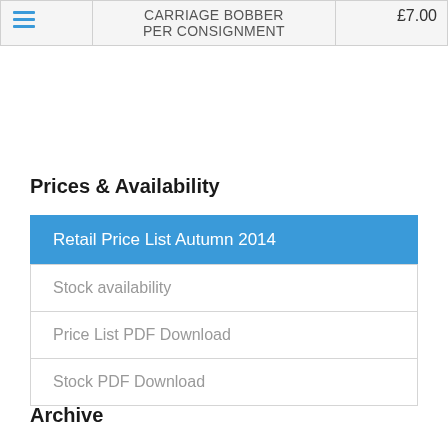|  | CARRIAGE BOBBER PER CONSIGNMENT | £7.00 |
| --- | --- | --- |
|  | CARRIAGE BOBBER PER CONSIGNMENT | £7.00 |
Trade Home
Prices & Availability
Retail Price List Autumn 2014
Stock availability
Price List PDF Download
Stock PDF Download
Archive